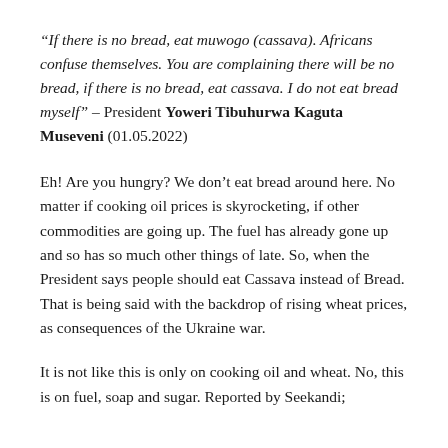“If there is no bread, eat muwogo (cassava). Africans confuse themselves. You are complaining there will be no bread, if there is no bread, eat cassava. I do not eat bread myself” – President Yoweri Tibuhurwa Kaguta Museveni (01.05.2022)
Eh! Are you hungry? We don’t eat bread around here. No matter if cooking oil prices is skyrocketing, if other commodities are going up. The fuel has already gone up and so has so much other things of late. So, when the President says people should eat Cassava instead of Bread. That is being said with the backdrop of rising wheat prices, as consequences of the Ukraine war.
It is not like this is only on cooking oil and wheat. No, this is on fuel, soap and sugar. Reported by Seekandi;